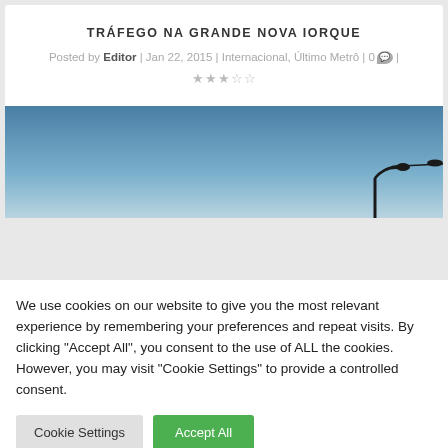TRÁFEGO NA GRANDE NOVA IORQUE
Posted by Editor | Jan 22, 2015 | Internacional, Último Metrô | 0 💬 | ★★★★☆
[Figure (photo): Wide panoramic photo of a blue sky with a street lamp visible in the lower right corner.]
We use cookies on our website to give you the most relevant experience by remembering your preferences and repeat visits. By clicking "Accept All", you consent to the use of ALL the cookies. However, you may visit "Cookie Settings" to provide a controlled consent.